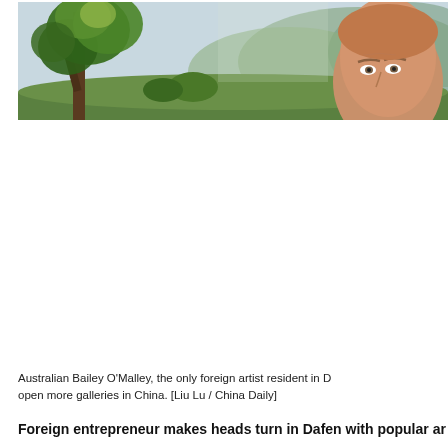[Figure (photo): A painting of a lush green landscape with trees on the left, rolling hills and mountains in the background, and a man's face (Bailey O'Malley) visible in the foreground on the right side.]
Australian Bailey O'Malley, the only foreign artist resident in D... open more galleries in China. [Liu Lu / China Daily]
Foreign entrepreneur makes heads turn in Dafen with popular ar...